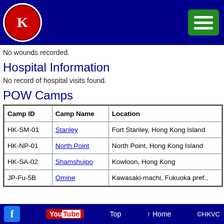HKVC website header with logo and navigation menu
No wounds recorded.
Hospital Information
No record of hospital visits found.
POW Camps
| Camp ID | Camp Name | Location |
| --- | --- | --- |
| HK-SM-01 | Stanley | Fort Stanley, Hong Kong Island |
| HK-NP-01 | North Point | North Point, Hong Kong Island |
| HK-SA-02 | Shamshuipo | Kowloon, Hong Kong |
| JP-Fu-5B | Omine | Kawasaki-machi, Fukuoka pref., |
Top  ↑ Home  ©HKVC